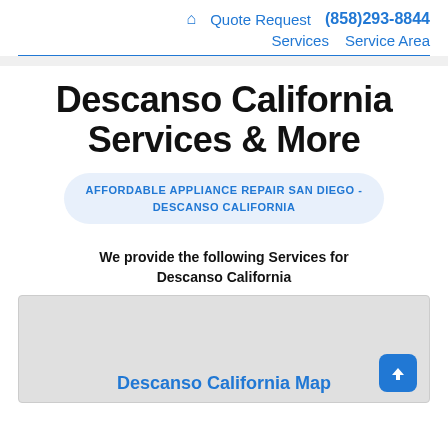🏠 Quote Request (858)293-8844 Services Service Area
Descanso California Services & More
AFFORDABLE APPLIANCE REPAIR SAN DIEGO - DESCANSO CALIFORNIA
We provide the following Services for Descanso California
[Figure (map): Map of Descanso California area]
Descanso California Map